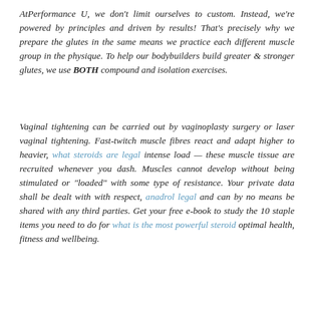AtPerformance U, we don't limit ourselves to custom. Instead, we're powered by principles and driven by results! That's precisely why we prepare the glutes in the same means we practice each different muscle group in the physique. To help our bodybuilders build greater & stronger glutes, we use BOTH compound and isolation exercises.
Vaginal tightening can be carried out by vaginoplasty surgery or laser vaginal tightening. Fast-twitch muscle fibres react and adapt higher to heavier, what steroids are legal intense load — these muscle tissue are recruited whenever you dash. Muscles cannot develop without being stimulated or "loaded" with some type of resistance. Your private data shall be dealt with with respect, anadrol legal and can by no means be shared with any third parties. Get your free e-book to study the 10 staple items you need to do for what is the most powerful steroid optimal health, fitness and wellbeing.